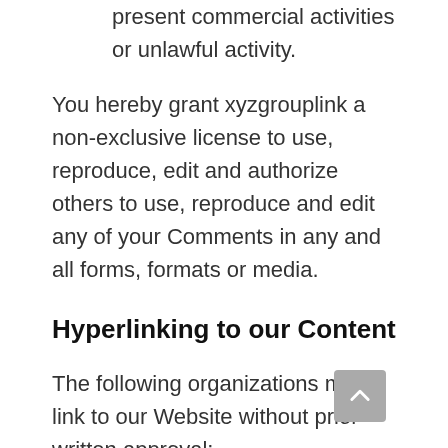present commercial activities or unlawful activity.
You hereby grant xyzgrouplink a non-exclusive license to use, reproduce, edit and authorize others to use, reproduce and edit any of your Comments in any and all forms, formats or media.
Hyperlinking to our Content
The following organizations may link to our Website without prior written approval: